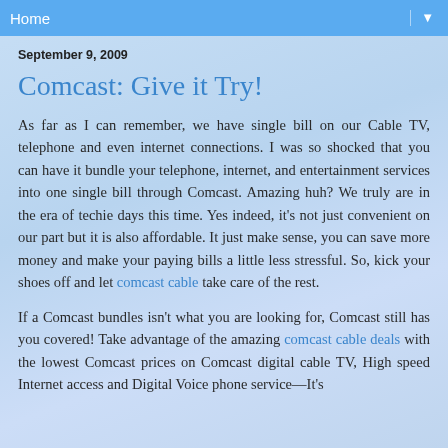Home
September 9, 2009
Comcast: Give it Try!
As far as I can remember, we have single bill on our Cable TV, telephone and even internet connections. I was so shocked that you can have it bundle your telephone, internet, and entertainment services into one single bill through Comcast. Amazing huh? We truly are in the era of techie days this time. Yes indeed, it’s not just convenient on our part but it is also affordable. It just make sense, you can save more money and make your paying bills a little less stressful. So, kick your shoes off and let comcast cable take care of the rest.
If a Comcast bundles isn’t what you are looking for, Comcast still has you covered! Take advantage of the amazing comcast cable deals with the lowest Comcast prices on Comcast digital cable TV, High speed Internet access and Digital Voice phone service—It’s